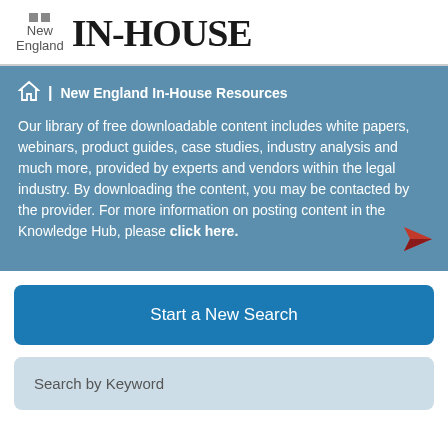New England IN-HOUSE
New England In-House Resources
Our library of free downloadable content includes white papers, webinars, product guides, case studies, industry analysis and much more, provided by experts and vendors within the legal industry. By downloading the content, you may be contacted by the provider. For more information on posting content in the Knowledge Hub, please click here.
Start a New Search
Search by Keyword